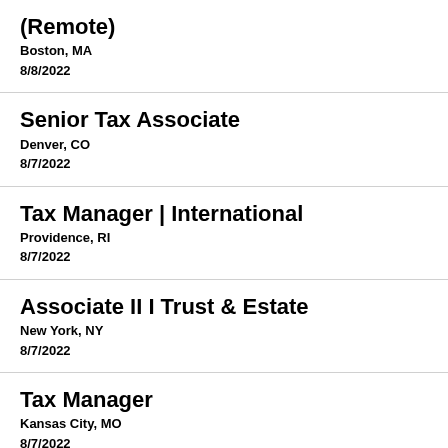(Remote)
Boston, MA
8/8/2022
Senior Tax Associate
Denver, CO
8/7/2022
Tax Manager | International
Providence, RI
8/7/2022
Associate II I Trust & Estate
New York, NY
8/7/2022
Tax Manager
Kansas City, MO
8/7/2022
Tax Managing Director